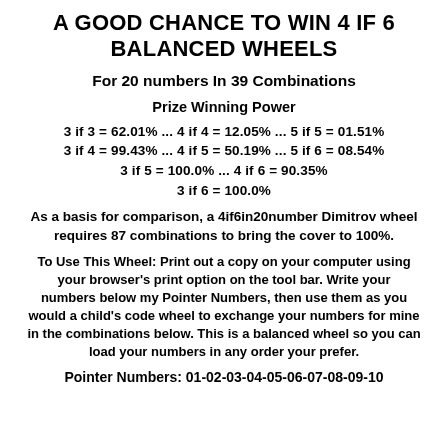A GOOD CHANCE TO WIN 4 IF 6 BALANCED WHEELS
For 20 numbers In 39 Combinations
Prize Winning Power
3 if 3 = 62.01% ... 4 if 4 = 12.05% ... 5 if 5 = 01.51%
3 if 4 = 99.43% ... 4 if 5 = 50.19% ... 5 if 6 = 08.54%
3 if 5 = 100.0% ... 4 if 6 = 90.35%
3 if 6 = 100.0%
As a basis for comparison, a 4if6in20number Dimitrov wheel requires 87 combinations to bring the cover to 100%.
To Use This Wheel: Print out a copy on your computer using your browser's print option on the tool bar. Write your numbers below my Pointer Numbers, then use them as you would a child's code wheel to exchange your numbers for mine in the combinations below. This is a balanced wheel so you can load your numbers in any order your prefer.
Pointer Numbers: 01-02-03-04-05-06-07-08-09-10